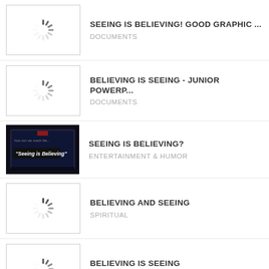SEEING IS BELIEVING! GOOD GRAPHIC ... | DOCUMENTS
BELIEVING IS SEEING - JUNIOR POWERP... | DOCUMENTS
SEEING IS BELIEVING? | ENTERTAINMENT & HUMOR
BELIEVING AND SEEING | SPIRITUAL
BELIEVING IS SEEING | DOCUMENTS